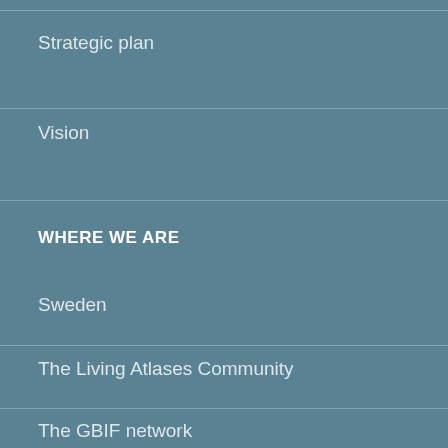Strategic plan
Vision
WHERE WE ARE
Sweden
The Living Atlases Community
The GBIF network
INFORMATION
Our API:s
Accessibility